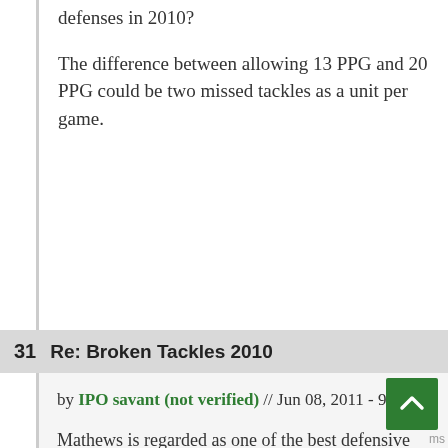defenses in 2010?
The difference between allowing 13 PPG and 20 PPG could be two missed tackles as a unit per game.
31  Re: Broken Tackles 2010
by IPO savant (not verified) // Jun 08, 2011 - 9:42pm
Mathews is regarded as one of the best defensive players in the league
I wager BB would find a way to get him on the field
And the Packers ascent was helped by better